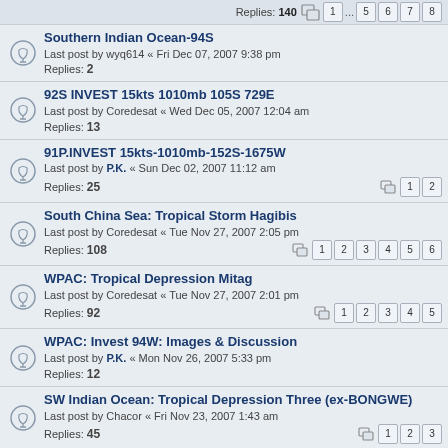Replies: 140  [pages 1 ... 5 6 7 8]
Southern Indian Ocean-94S
Last post by wyq614 « Fri Dec 07, 2007 9:38 pm
Replies: 2
92S INVEST 15kts 1010mb 105S 729E
Last post by Coredesat « Wed Dec 05, 2007 12:04 am
Replies: 13
91P.INVEST 15kts-1010mb-152S-1675W
Last post by P.K. « Sun Dec 02, 2007 11:12 am
Replies: 25 [pages 1 2]
South China Sea: Tropical Storm Hagibis
Last post by Coredesat « Tue Nov 27, 2007 2:05 pm
Replies: 108 [pages 1 2 3 4 5 6]
WPAC: Tropical Depression Mitag
Last post by Coredesat « Tue Nov 27, 2007 2:01 pm
Replies: 92 [pages 1 2 3 4 5]
WPAC: Invest 94W: Images & Discussion
Last post by P.K. « Mon Nov 26, 2007 5:33 pm
Replies: 12
SW Indian Ocean: Tropical Depression Three (ex-BONGWE)
Last post by Chacor « Fri Nov 23, 2007 1:43 am
Replies: 45 [pages 1 2 3]
SW Indian Ocean: Tropical Depression TWO (ex-ARIEL)
Last post by P.K. « Thu Nov 22, 2007 4:28 pm
Replies: 69 [pages 1 2 3 4]
SW Pacific: Tropical Depression 02F
Last post by P.K. « Thu Nov 22, 2007 8:09 am
Replies: 3